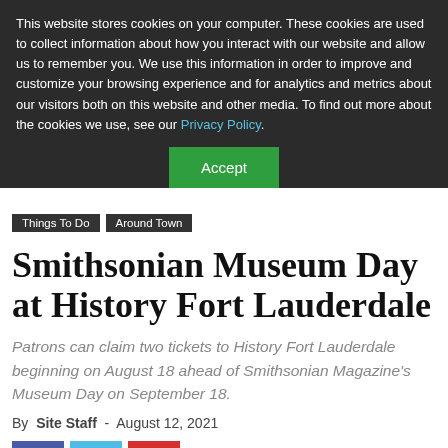This website stores cookies on your computer. These cookies are used to collect information about how you interact with our website and allow us to remember you. We use this information in order to improve and customize your browsing experience and for analytics and metrics about our visitors both on this website and other media. To find out more about the cookies we use, see our Privacy Policy.
Accept
Things To Do
Around Town
Smithsonian Museum Day at History Fort Lauderdale
Patrons can claim two tickets to History Fort Lauderdale beginning on August 18 ahead of Smithsonian Magazine's Museum Day on September 18.
By Site Staff - August 12, 2021